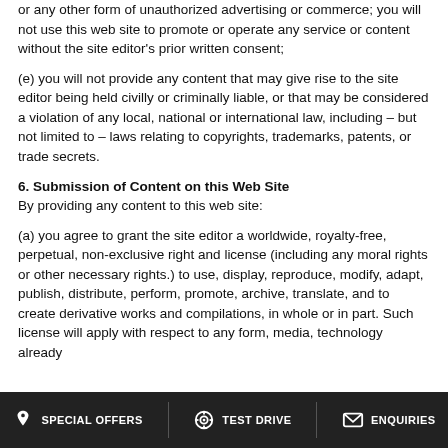or any other form of unauthorized advertising or commerce; you will not use this web site to promote or operate any service or content without the site editor's prior written consent;
(e) you will not provide any content that may give rise to the site editor being held civilly or criminally liable, or that may be considered a violation of any local, national or international law, including – but not limited to – laws relating to copyrights, trademarks, patents, or trade secrets.
6. Submission of Content on this Web Site
By providing any content to this web site:
(a) you agree to grant the site editor a worldwide, royalty-free, perpetual, non-exclusive right and license (including any moral rights or other necessary rights.) to use, display, reproduce, modify, adapt, publish, distribute, perform, promote, archive, translate, and to create derivative works and compilations, in whole or in part. Such license will apply with respect to any form, media, technology already
SPECIAL OFFERS | TEST DRIVE | ENQUIRIES